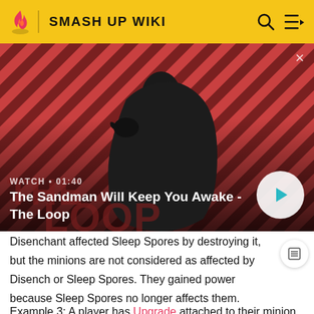SMASH UP WIKI
[Figure (screenshot): Video thumbnail for 'The Sandman Will Keep You Awake - The Loop' with a dark figure and a raven on diagonal red/dark striped background. Shows WATCH • 01:40 and a play button.]
Disenchant affected Sleep Spores by destroying it, but the minions are not considered as affected by Disench or Sleep Spores. They gained power because Sleep Spores no longer affects them.
Example 3: A player has Upgrade attached to their minion.